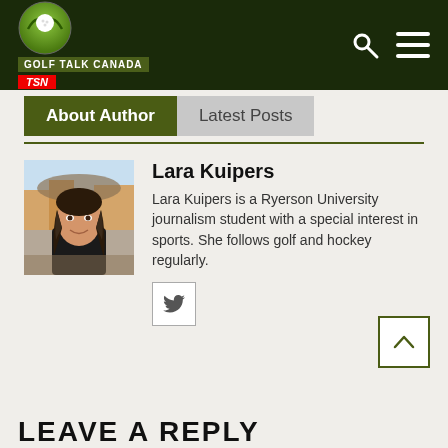Golf Talk Canada TSN
About Author | Latest Posts
[Figure (photo): Portrait photo of Lara Kuipers, a young woman with long dark hair sitting outdoors]
Lara Kuipers
Lara Kuipers is a Ryerson University journalism student with a special interest in sports. She follows golf and hockey regularly.
[Figure (logo): Twitter bird icon button]
LEAVE A REPLY